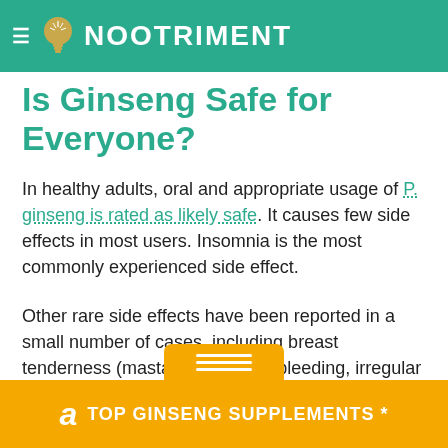≡ NOOTRIMENT
Is Ginseng Safe for Everyone?
In healthy adults, oral and appropriate usage of P. ginseng is rated as likely safe. It causes few side effects in most users. Insomnia is the most commonly experienced side effect.
Other rare side effects have been reported in a small number of cases, including breast tenderness (mastalgia), vaginal bleeding, irregular
TOP GINSENG SUPPLEMENTS *